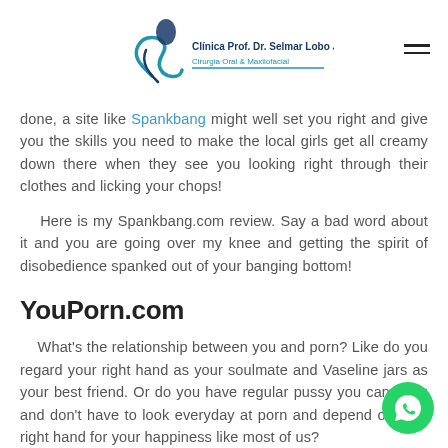Clinica Prof. Dr. Selmar Lobo Jr. - Cirurgia Oral & Maxilofacial
done, a site like Spankbang might well set you right and give you the skills you need to make the local girls get all creamy down there when they see you looking right through their clothes and licking your chops!
Here is my Spankbang.com review. Say a bad word about it and you are going over my knee and getting the spirit of disobedience spanked out of your banging bottom!
YouPorn.com
What's the relationship between you and porn? Like do you regard your right hand as your soulmate and Vaseline jars as your best friend. Or do you have regular pussy you can bang and don't have to look everyday at porn and depend on your right hand for your happiness like most of us?